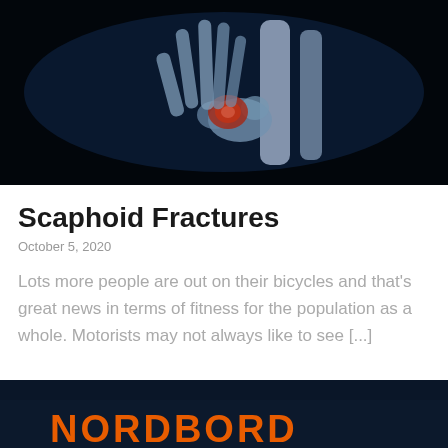[Figure (photo): X-ray image of a human hand and wrist showing bones, with a red highlighted area at the scaphoid bone near the wrist joint, against a black background.]
Scaphoid Fractures
October 5, 2020
Lots more people are out on their bicycles and that's great news in terms of fitness for the population as a whole. Motorists may not always like to see [...]
[Figure (photo): Bottom portion of an image showing dark blue/navy background with orange bold text reading 'NORDBORD' partially visible at the bottom of the page.]